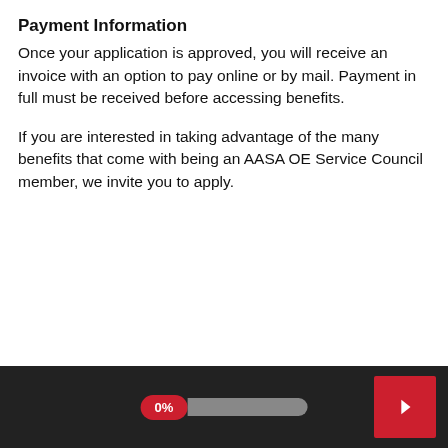Payment Information
Once your application is approved, you will receive an invoice with an option to pay online or by mail. Payment in full must be received before accessing benefits.
If you are interested in taking advantage of the many benefits that come with being an AASA OE Service Council member, we invite you to apply.
0%